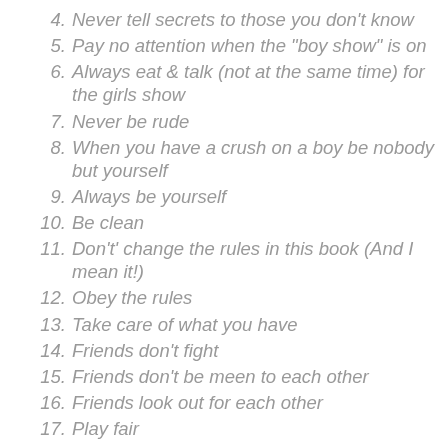4. Never tell secrets to those you don't know
5. Pay no attention when the "boy show" is on
6. Always eat & talk (not at the same time) for the girls show
7. Never be rude
8. When you have a crush on a boy be nobody but yourself
9. Always be yourself
10. Be clean
11. Don't' change the rules in this book (And I mean it!)
12. Obey the rules
13. Take care of what you have
14. Friends don't fight
15. Friends don't be meen to each other
16. Friends look out for each other
17. Play fair
18. Ignore those who are annoying
19. Be careful what you say
20. Be calm